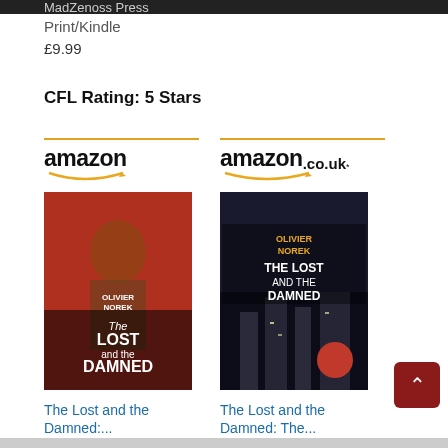MadZenoss Press
Print/Kindle
£9.99
CFL Rating: 5 Stars
[Figure (screenshot): Amazon US logo with orange arrow underline]
[Figure (screenshot): Amazon.co.uk logo with orange arrow underline]
[Figure (photo): Book cover: The Lost and the Damned by Olivier Norek (red cover, US edition)]
[Figure (photo): Book cover: The Lost and the Damned by Olivier Norek (dark cover, UK edition)]
The Lost and the Damned:...
$3.07
The Lost and the Damned: The...
£4.99